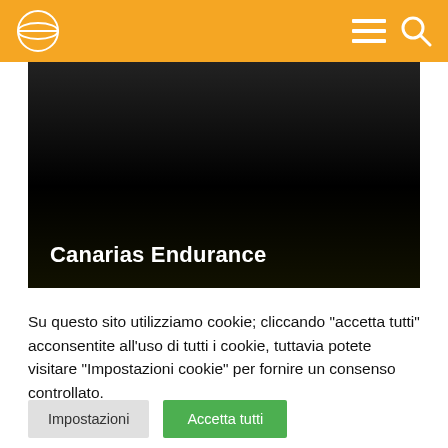Canarias Endurance website header with logo, hamburger menu, and search icon
[Figure (screenshot): Dark hero image with text 'Canarias Endurance' in white bold font at bottom left]
Su questo sito utilizziamo cookie; cliccando "accetta tutti" acconsentite all'uso di tutti i cookie, tuttavia potete visitare "Impostazioni cookie" per fornire un consenso controllato.
Impostazioni  Accetta tutti